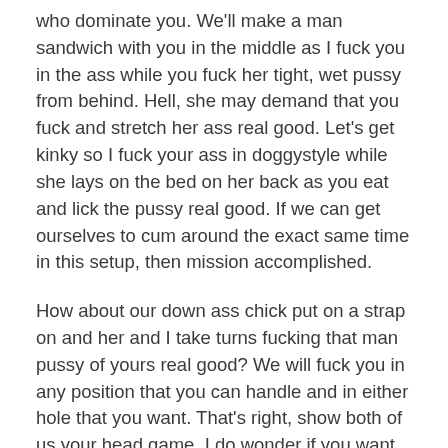who dominate you. We'll make a man sandwich with you in the middle as I fuck you in the ass while you fuck her tight, wet pussy from behind. Hell, she may demand that you fuck and stretch her ass real good. Let's get kinky so I fuck your ass in doggystyle while she lays on the bed on her back as you eat and lick the pussy real good. If we can get ourselves to cum around the exact same time in this setup, then mission accomplished.
How about our down ass chick put on a strap on and her and I take turns fucking that man pussy of yours real good? We will fuck you in any position that you can handle and in either hole that you want. That's right, show both of us your head game. I do wonder if you want to take a go at getting fucked by two women with a dick. Another sexy, freaky shemale like myself and me will give